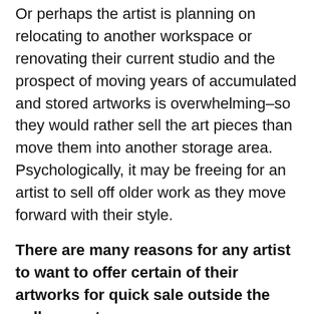Or perhaps the artist is planning on relocating to another workspace or renovating their current studio and the prospect of moving years of accumulated and stored artworks is overwhelming–so they would rather sell the art pieces than move them into another storage area. Psychologically, it may be freeing for an artist to sell off older work as they move forward with their style.
There are many reasons for any artist to want to offer certain of their artworks for quick sale outside the gallery system.
Open Studio sales have been underway annually for decades before any online galleries even existed. Open Studios provide a way for artists to sell their art from their studio–the major drawback being that these sales are usually annual or bi-annual and occur only over one